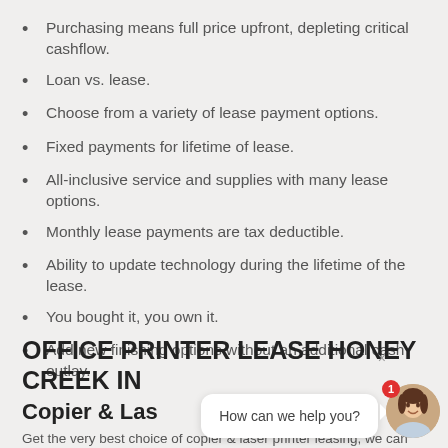Purchasing means full price upfront, depleting critical cashflow.
Loan vs. lease.
Choose from a variety of lease payment options.
Fixed payments for lifetime of lease.
All-inclusive service and supplies with many lease options.
Monthly lease payments are tax deductible.
Ability to update technology during the lifetime of the lease.
You bought it, you own it.
Add new finishing options without an additional cash outlay.
OFFICE PRINTER LEASE HONEY CREEK IN
Copier & Las
Get the very best choice of copier & laser printer leasing, we can